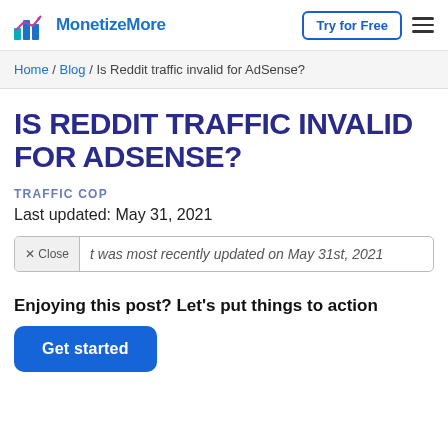MonetizeMore — Try for Free
Home / Blog / Is Reddit traffic invalid for AdSense?
IS REDDIT TRAFFIC INVALID FOR ADSENSE?
TRAFFIC COP
Last updated: May 31, 2021
t was most recently updated on May 31st, 2021
Enjoying this post? Let's put things to action
Get started